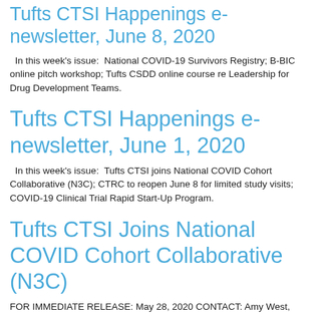Tufts CTSI Happenings e-newsletter, June 8, 2020
In this week's issue:  National COVID-19 Survivors Registry; B-BIC online pitch workshop; Tufts CSDD online course re Leadership for Drug Development Teams.
Tufts CTSI Happenings e-newsletter, June 1, 2020
In this week's issue:  Tufts CTSI joins National COVID Cohort Collaborative (N3C); CTRC to reopen June 8 for limited study visits; COVID-19 Clinical Trial Rapid Start-Up Program.
Tufts CTSI Joins National COVID Cohort Collaborative (N3C)
FOR IMMEDIATE RELEASE: May 28, 2020 CONTACT: Amy West, awest@tuftsmedicalcenter.org BOSTON – Tufts